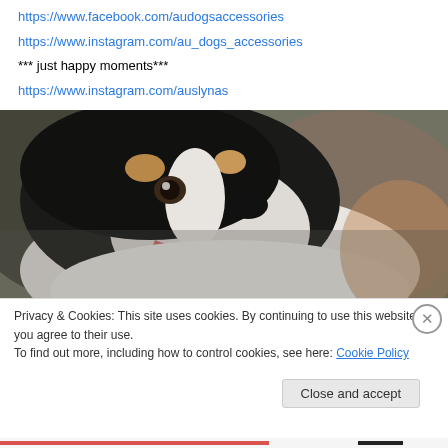https://www.facebook.com/audogsaccessories
https://www.instagram.com/au_dogs_accessories
*** just happy moments***
https://www.instagram.com/auslynas
[Figure (photo): Close-up photo of a happy Border Collie dog with black and white fur, mouth open and tongue out, looking upward, with a blurred background.]
Privacy & Cookies: This site uses cookies. By continuing to use this website, you agree to their use.
To find out more, including how to control cookies, see here: Cookie Policy
Close and accept